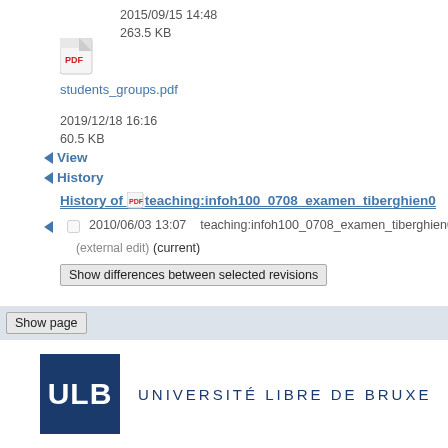2015/09/15 14:48
263.5 KB
[Figure (illustration): PDF file icon]
students_groups.pdf
2019/12/18 16:16
60.5 KB
View
History
History of teaching:infoh100_0708_examen_tiberghien0
2010/06/03 13:07    teaching:infoh100_0708_examen_tiberghien01_c
(external edit) (current)
Show differences between selected revisions
Show page
[Figure (logo): ULB logo with dark blue square containing white ULB text, followed by UNIVERSITE LIBRE DE BRUXE text]